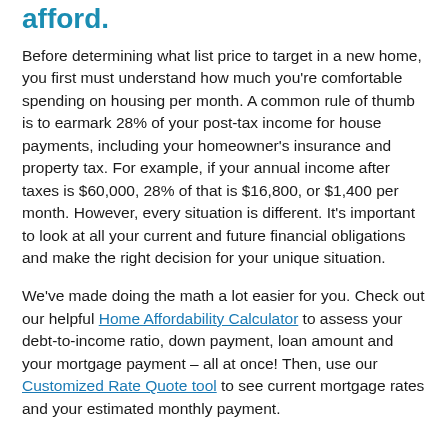afford.
Before determining what list price to target in a new home, you first must understand how much you're comfortable spending on housing per month. A common rule of thumb is to earmark 28% of your post-tax income for house payments, including your homeowner's insurance and property tax. For example, if your annual income after taxes is $60,000, 28% of that is $16,800, or $1,400 per month. However, every situation is different. It's important to look at all your current and future financial obligations and make the right decision for your unique situation.
We've made doing the math a lot easier for you. Check out our helpful Home Affordability Calculator to assess your debt-to-income ratio, down payment, loan amount and your mortgage payment – all at once! Then, use our Customized Rate Quote tool to see current mortgage rates and your estimated monthly payment.